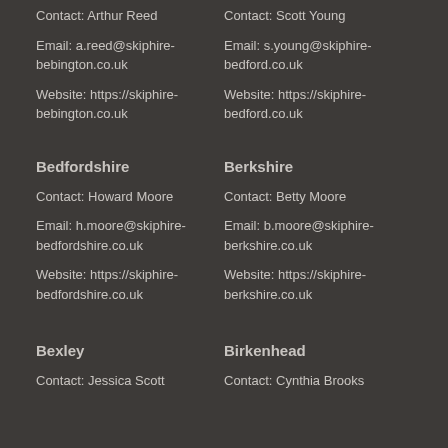Contact: Arthur Reed
Email: a.reed@skiphire-bebington.co.uk
Website: https://skiphire-bebington.co.uk
Contact: Scott Young
Email: s.young@skiphire-bedford.co.uk
Website: https://skiphire-bedford.co.uk
Bedfordshire
Contact: Howard Moore
Email: h.moore@skiphire-bedfordshire.co.uk
Website: https://skiphire-bedfordshire.co.uk
Berkshire
Contact: Betty Moore
Email: b.moore@skiphire-berkshire.co.uk
Website: https://skiphire-berkshire.co.uk
Bexley
Birkenhead
Contact: Jessica Scott
Contact: Cynthia Brooks